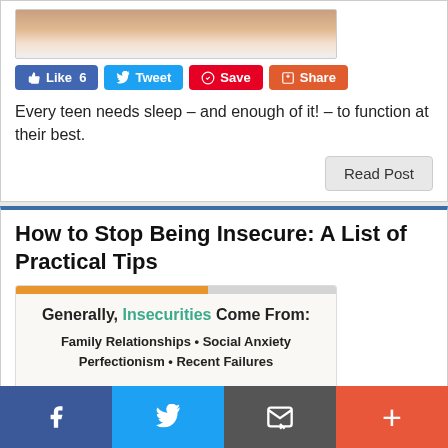[Figure (photo): Partial image of a teen sleeping, cropped at top]
[Figure (infographic): Social sharing buttons: Like 6, Tweet, Save, Share]
Every teen needs sleep – and enough of it! – to function at their best.
How to Stop Being Insecure: A List of Practical Tips
[Figure (infographic): Infographic: Generally, Insecurities Come From: Family Relationships • Social Anxiety Perfectionism • Recent Failures. It will be challenging to fend off the negativity at first. Yet, if you keep practicing, you will soon look at more situations in a positive light.]
Facebook | Twitter | Email | +